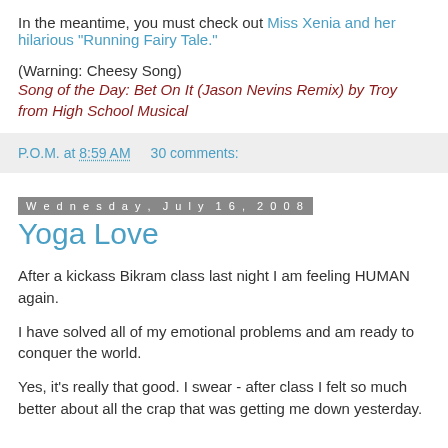In the meantime, you must check out Miss Xenia and her hilarious "Running Fairy Tale."
(Warning: Cheesy Song)
Song of the Day: Bet On It (Jason Nevins Remix) by Troy from High School Musical
P.O.M. at 8:59 AM    30 comments:
Wednesday, July 16, 2008
Yoga Love
After a kickass Bikram class last night I am feeling HUMAN again.
I have solved all of my emotional problems and am ready to conquer the world.
Yes, it's really that good. I swear - after class I felt so much better about all the crap that was getting me down yesterday.